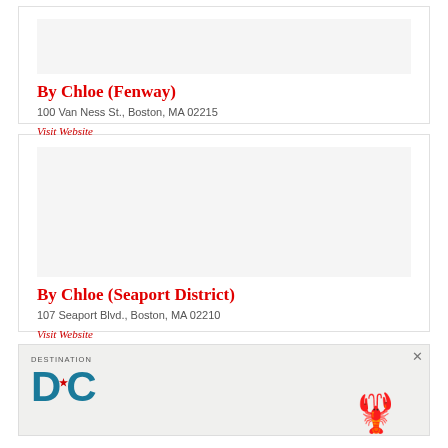By Chloe (Fenway)
100 Van Ness St., Boston, MA 02215
Visit Website
By Chloe (Seaport District)
107 Seaport Blvd., Boston, MA 02210
Visit Website
[Figure (advertisement): Destination DC advertisement with teal DC logo and lobster graphic]